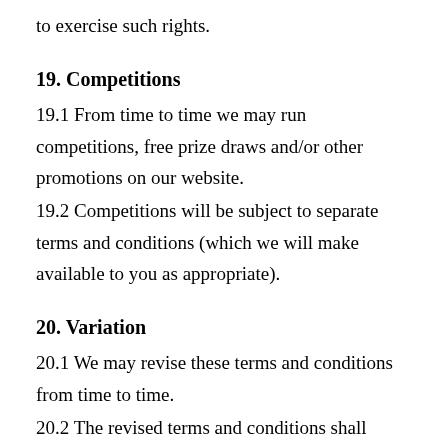to exercise such rights.
19. Competitions
19.1 From time to time we may run competitions, free prize draws and/or other promotions on our website.
19.2 Competitions will be subject to separate terms and conditions (which we will make available to you as appropriate).
20. Variation
20.1 We may revise these terms and conditions from time to time.
20.2 The revised terms and conditions shall